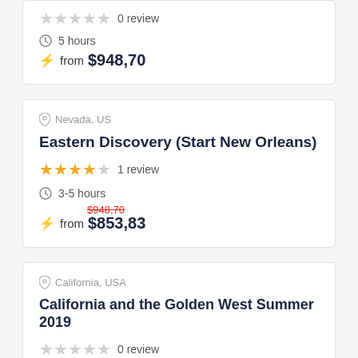0 review
5 hours
from $948,70
Nevada, US
Eastern Discovery (Start New Orleans)
1 review
3-5 hours
$948,70 (strikethrough) from $853,83
California, USA
California and the Golden West Summer 2019
0 review
2 days